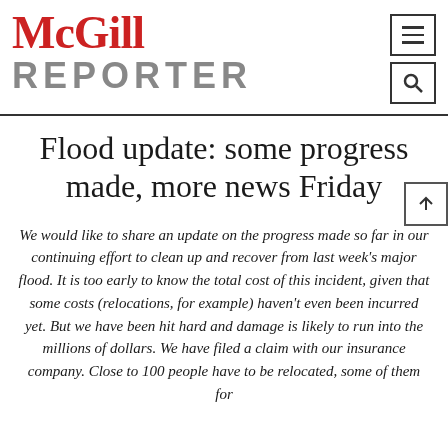McGill REPORTER
Flood update: some progress made, more news Friday
We would like to share an update on the progress made so far in our continuing effort to clean up and recover from last week's major flood. It is too early to know the total cost of this incident, given that some costs (relocations, for example) haven't even been incurred yet. But we have been hit hard and damage is likely to run into the millions of dollars. We have filed a claim with our insurance company. Close to 100 people have to be relocated, some of them for